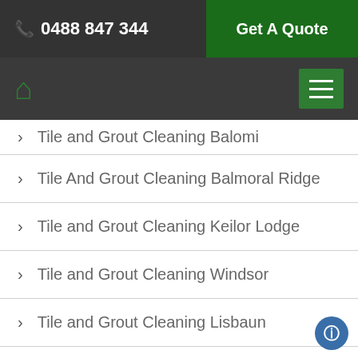📞 0488 847 344   Get A Quote
Tile and Grout Cleaning Balomi
Tile And Grout Cleaning Balmoral Ridge
Tile and Grout Cleaning Keilor Lodge
Tile and Grout Cleaning Windsor
Tile and Grout Cleaning Lisbaun
Tile And Grout Cleaning Grapetree